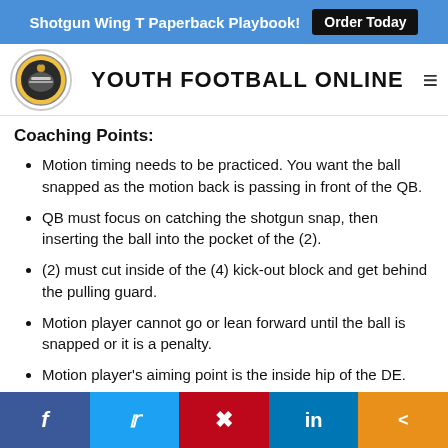Shotgun Wing T Paperback Playbook! Order Today
[Figure (logo): Youth Football Online circular logo with helmet graphic]
YOUTH FOOTBALL ONLINE
Coaching Points:
Motion timing needs to be practiced. You want the ball snapped as the motion back is passing in front of the QB.
QB must focus on catching the shotgun snap, then inserting the ball into the pocket of the (2).
(2) must cut inside of the (4) kick-out block and get behind the pulling guard.
Motion player cannot go or lean forward until the ball is snapped or it is a penalty.
Motion player's aiming point is the inside hip of the DE.
f  Twitter  Pinterest  in  Share